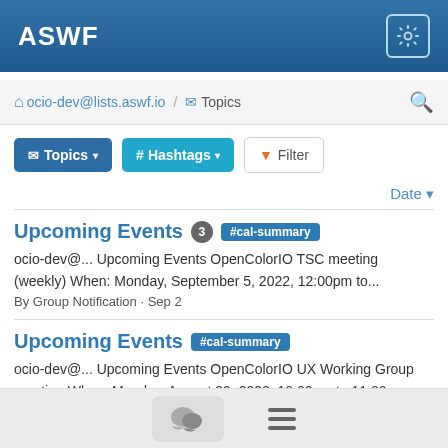ASWF
ocio-dev@lists.aswf.io / Topics
Topics | # Hashtags | Filter
Date
Upcoming Events 3 #cal-summary
ocio-dev@... Upcoming Events OpenColorIO TSC meeting (weekly) When: Monday, September 5, 2022, 12:00pm to... By Group Notification · Sep 2
Upcoming Events #cal-summary
ocio-dev@... Upcoming Events OpenColorIO UX Working Group meeting When: Monday, August 29, 2022, 10:00am to 11:00am... By Group Notification · Aug 26